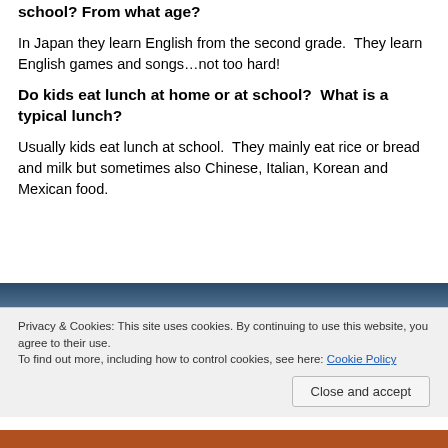school?  From what age?
In Japan they learn English from the second grade.  They learn English games and songs…not too hard!
Do kids eat lunch at home or at school?  What is a typical lunch?
Usually kids eat lunch at school.  They mainly eat rice or bread and milk but sometimes also Chinese, Italian, Korean and Mexican food.
[Figure (photo): Partial photo of a person, dark background, appears to be a school or food scene]
Privacy & Cookies: This site uses cookies. By continuing to use this website, you agree to their use.
To find out more, including how to control cookies, see here: Cookie Policy
[Figure (photo): Bottom strip of a photo showing food items]